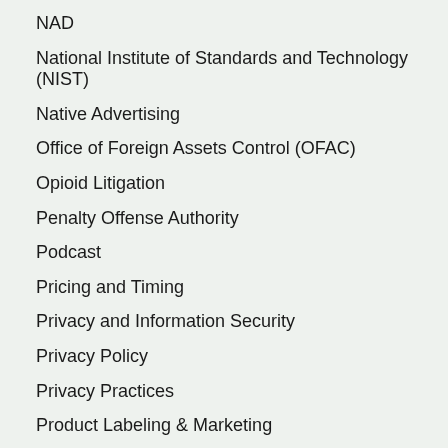NAD
National Institute of Standards and Technology (NIST)
Native Advertising
Office of Foreign Assets Control (OFAC)
Opioid Litigation
Penalty Offense Authority
Podcast
Pricing and Timing
Privacy and Information Security
Privacy Policy
Privacy Practices
Product Labeling & Marketing
Product Safety